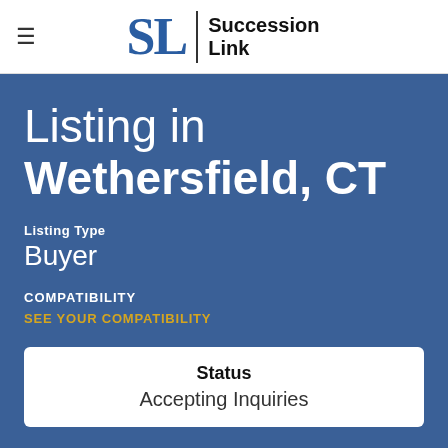SL | Succession Link
Listing in Wethersfield, CT
Listing Type
Buyer
COMPATIBILITY
SEE YOUR COMPATIBILITY
Status
Accepting Inquiries